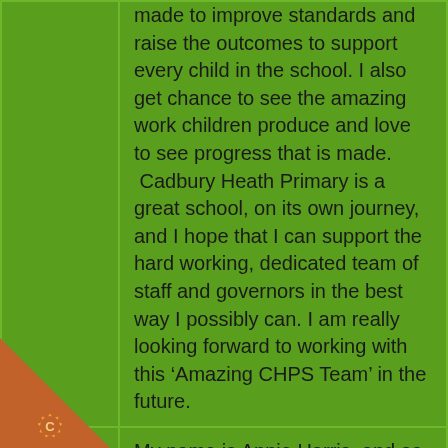made to improve standards and raise the outcomes to support every child in the school. I also get chance to see the amazing work children produce and love to see progress that is made. Cadbury Heath Primary is a great school, on its own journey, and I hope that I can support the hard working, dedicated team of staff and governors in the best way I possibly can. I am really looking forward to working with this ‘Amazing CHPS Team’ in the future.
My name is Annie Harris, and as Headteacher I am a member of the Governing Body because of my role. I joined Cadbury Heath in January 2020, and have really enjoyed working with the
[Figure (logo): Brown and orange circular logo with a gear/star shape in the center containing the letter C, positioned in the bottom-left corner of the page]